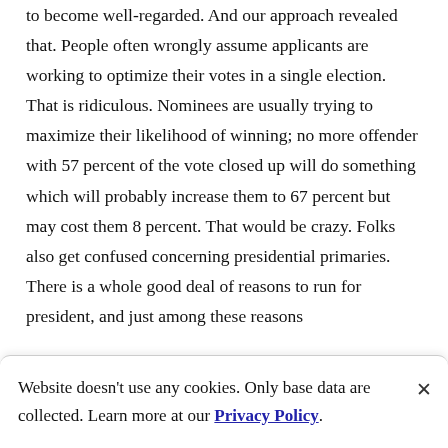to become well-regarded. And our approach revealed that. People often wrongly assume applicants are working to optimize their votes in a single election. That is ridiculous. Nominees are usually trying to maximize their likelihood of winning; no more offender with 57 percent of the vote closed up will do something which will probably increase them to 67 percent but may cost them 8 percent. That would be crazy. Folks also get confused concerning presidential primaries. There is a whole good deal of reasons to run for president, and just among these reasons
Website doesn't use any cookies. Only base data are collected. Learn more at our Privacy Policy.